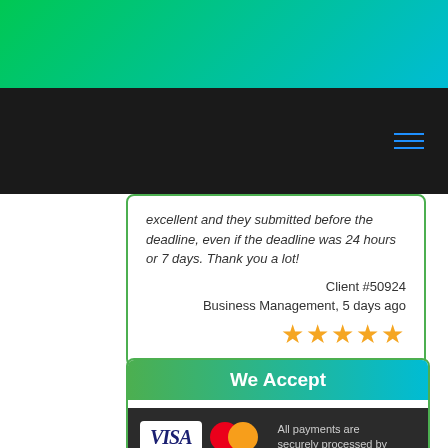[Figure (screenshot): Green gradient header banner at top of page]
Navigation header with hamburger menu icon
excellent and they submitted before the deadline, even if the deadline was 24 hours or 7 days. Thank you a lot!
Client #50924
Business Management, 5 days ago
[Figure (infographic): Five gold star rating]
We Accept
[Figure (infographic): Payment logos: VISA and MasterCard with text 'All payments are securely processed by']